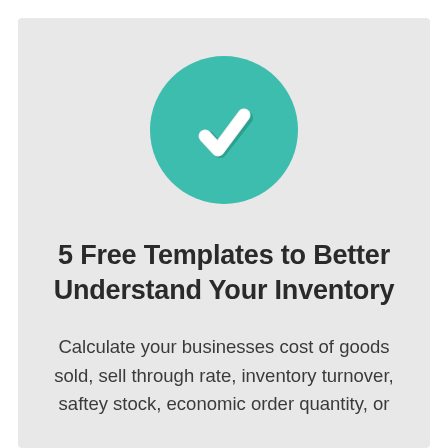[Figure (illustration): Teal/green circle with a white checkmark icon in the center]
5 Free Templates to Better Understand Your Inventory
Calculate your businesses cost of goods sold, sell through rate, inventory turnover, saftey stock, economic order quantity, or